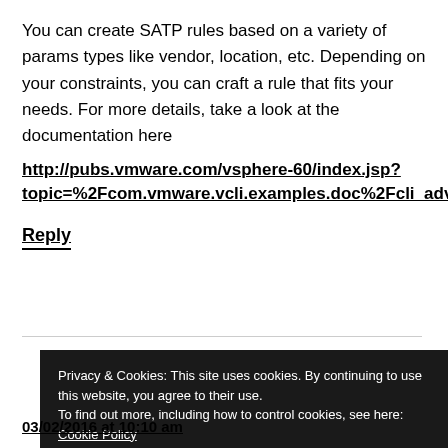You can create SATP rules based on a variety of params types like vendor, location, etc. Depending on your constraints, you can craft a rule that fits your needs. For more details, take a look at the documentation here
http://pubs.vmware.com/vsphere-60/index.jsp?topic=%2Fcom.vmware.vcli.examples.doc%2Fcli_advance
Reply
Privacy & Cookies: This site uses cookies. By continuing to use this website, you agree to their use. To find out more, including how to control cookies, see here: Cookie Policy
Close and accept
03/02/2016 at 10:10 am